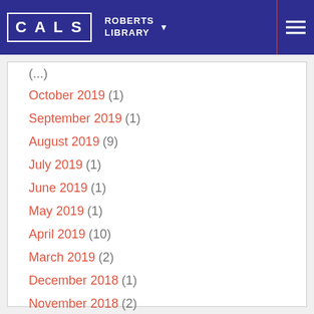CALS ROBERTS LIBRARY
October 2019 (1)
September 2019 (1)
August 2019 (9)
July 2019 (1)
June 2019 (1)
May 2019 (1)
April 2019 (10)
March 2019 (2)
December 2018 (1)
November 2018 (2)
October 2018 (1)
September 2018 (3)
August 2018 (1)
July 2018 (4)